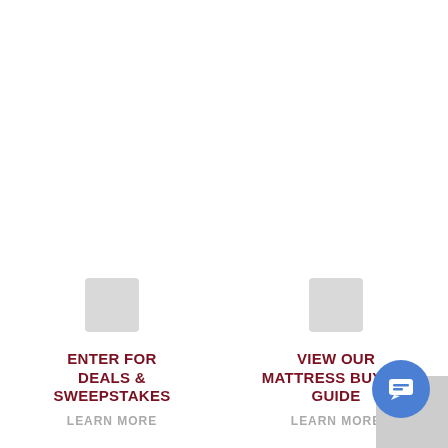[Figure (illustration): Small light gray square placeholder image box on left panel]
ENTER FOR DEALS & SWEEPSTAKES
LEARN MORE
[Figure (illustration): Small light gray square placeholder image box on right panel]
VIEW OUR MATTRESS BUYING GUIDE
LEARN MORE
[Figure (illustration): Blue circular chat button with message icon, bottom right]